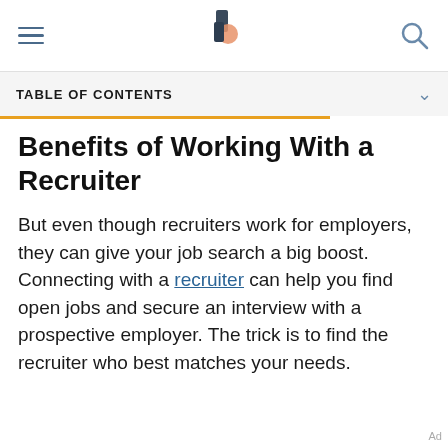TABLE OF CONTENTS
Benefits of Working With a Recruiter
But even though recruiters work for employers, they can give your job search a big boost. Connecting with a recruiter can help you find open jobs and secure an interview with a prospective employer. The trick is to find the recruiter who best matches your needs.